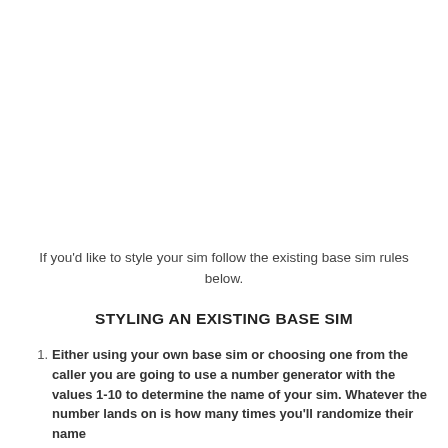If you'd like to style your sim follow the existing base sim rules below.
STYLING AN EXISTING BASE SIM
Either using your own base sim or choosing one from the caller you are going to use a number generator with the values 1-10 to determine the name of your sim. Whatever the number lands on is how many times you'll randomize their name
You'll do the exact same thing for their traits as well. For